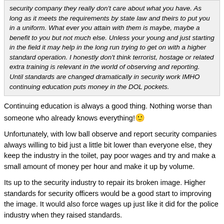security company they really don't care about what you have. As long as it meets the requirements by state law and theirs to put you in a uniform. What ever you attain with them is maybe, maybe a benefit to you but not much else. Unless your young and just starting in the field it may help in the long run trying to get on with a higher standard operation. I honestly don't think terrorist, hostage or related extra training is relevant in the world of observing and reporting. Until standards are changed dramatically in security work IMHO continuing education puts money in the DOL pockets.
Continuing education is always a good thing. Nothing worse than someone who already knows everything! 🙂
Unfortunately, with low ball observe and report security companies always willing to bid just a little bit lower than everyone else, they keep the industry in the toilet, pay poor wages and try and make a small amount of money per hour and make it up by volume.
Its up to the security industry to repair its broken image. Higher standards for security officers would be a good start to improving the image. It would also force wages up just like it did for the police industry when they raised standards.
It will probably take laws requiring higher standards before this happens. The big security companies won't get behind this idea voluntarily.
ATTN. SPECOPS AND GECKO45 my secret username is CIDDECEP and I am your S2. My authorization code is Six Wun Quebec Oscar Fife. Your presence here is tactically dangerous and compromises our overall mission parameter. Cease and desist all activity on this board. Our "enemies" are deft